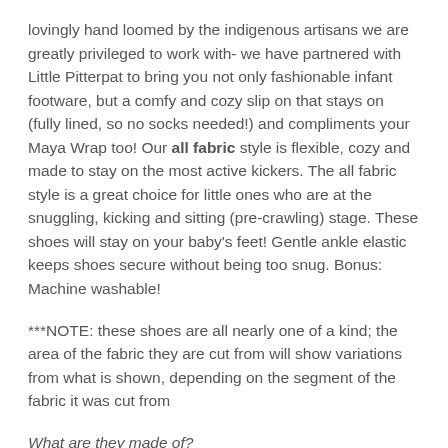lovingly hand loomed by the indigenous artisans we are greatly privileged to work with- we have partnered with Little Pitterpat to bring you not only fashionable infant footware, but a comfy and cozy slip on that stays on (fully lined, so no socks needed!) and compliments your Maya Wrap too! Our all fabric style is flexible, cozy and made to stay on the most active kickers. The all fabric style is a great choice for little ones who are at the snuggling, kicking and sitting (pre-crawling) stage. These shoes will stay on your baby's feet! Gentle ankle elastic keeps shoes secure without being too snug. Bonus: Machine washable!
***NOTE: these shoes are all nearly one of a kind; the area of the fabric they are cut from will show variations from what is shown, depending on the segment of the fabric it was cut from
What are they made of?